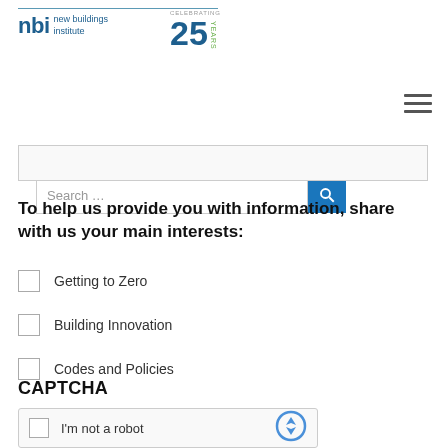[Figure (logo): New Buildings Institute logo with 'nbi new buildings institute' text and 'Celebrating 25 Years' badge]
Search …
To help us provide you with information, share with us your main interests:
Getting to Zero
Building Innovation
Codes and Policies
CAPTCHA
I'm not a robot